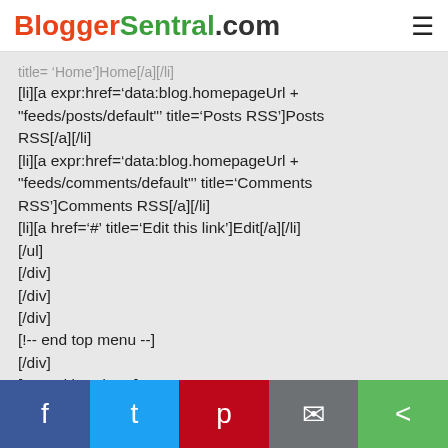BloggerSentral.com
[li][a expr:href='data:blog.homepageUrl + "feeds/posts/default"' title='Posts RSS']Posts RSS[/a][/li]
[li][a expr:href='data:blog.homepageUrl + "feeds/comments/default"' title='Comments RSS']Comments RSS[/a][/li]
[li][a href='#' title='Edit this link']Edit[/a][/li]
[/ul]
[/div]
[/div]
[/div]
[!-- end top menu --]
[/div]
[!-- end header --]